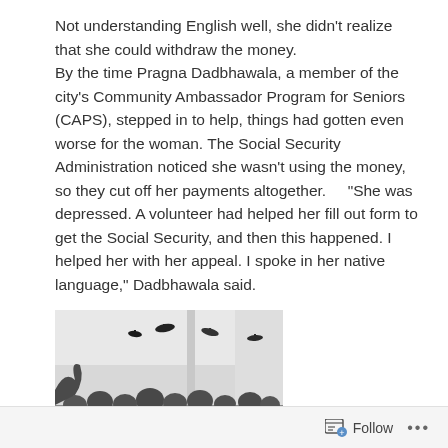Not understanding English well, she didn't realize that she could withdraw the money. By the time Pragna Dadbhawala, a member of the city's Community Ambassador Program for Seniors (CAPS), stepped in to help, things had gotten even worse for the woman. The Social Security Administration noticed she wasn't using the money, so they cut off her payments altogether.     "She was depressed. A volunteer had helped her fill out form to get the Social Security, and then this happened. I helped her with her appeal. I spoke in her native language," Dadbhawala said.
[Figure (photo): A group photo showing people at what appears to be a graduation ceremony, with graduation caps being tossed in the air indoors.]
Follow ...